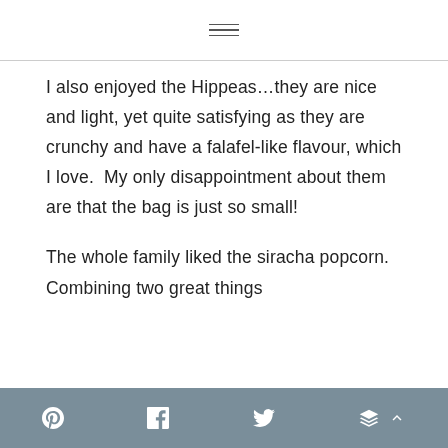I also enjoyed the Hippeas…they are nice and light, yet quite satisfying as they are crunchy and have a falafel-like flavour, which I love.  My only disappointment about them are that the bag is just so small!
The whole family liked the siracha popcorn.  Combining two great things